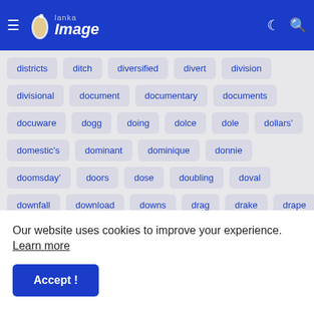Lanka Image
districts
ditch
diversified
divert
division
divisional
document
documentary
documents
docuware
dogg
doing
dolce
dole
dollars’
domestic’s
dominant
dominique
donnie
doomsday’
doors
dose
doubling
doval
downfall
download
downs
drag
drake
drape
draws
dress
dresses
drew
drink
drive-thru
drivers
driving
dropping
drowning
drugging
Our website uses cookies to improve your experience. Learn more
Accept !